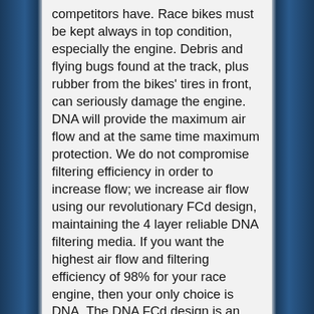competitors have. Race bikes must be kept always in top condition, especially the engine. Debris and flying bugs found at the track, plus rubber from the bikes' tires in front, can seriously damage the engine. DNA will provide the maximum air flow and at the same time maximum protection. We do not compromise filtering efficiency in order to increase flow; we increase air flow using our revolutionary FCd design, maintaining the 4 layer reliable DNA filtering media. If you want the highest air flow and filtering efficiency of 98% for your race engine, then your only choice is DNA. The DNA FCd design is an innovation by DNA. It allows the pleated filtering media to follow precisely the air box contour, regardless the complexity of the shape. Using the complete footprint of the air box, we eliminate “dead spots” that rob power and at the same time seriously increase air flow. Using DNA FCd technology, at least 20% and up to 80% more filtration area is